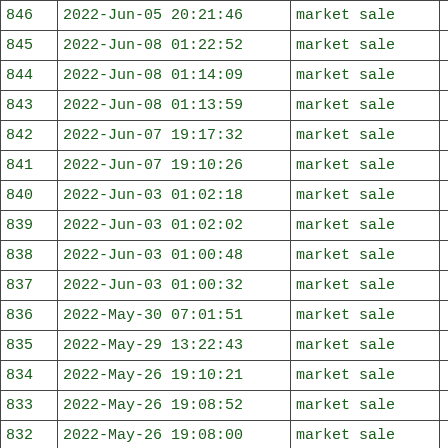| 846 | 2022-Jun-05 20:21:46 | market sale |  |
| 845 | 2022-Jun-08 01:22:52 | market sale |  |
| 844 | 2022-Jun-08 01:14:09 | market sale |  |
| 843 | 2022-Jun-08 01:13:59 | market sale |  |
| 842 | 2022-Jun-07 19:17:32 | market sale |  |
| 841 | 2022-Jun-07 19:10:26 | market sale |  |
| 840 | 2022-Jun-03 01:02:18 | market sale |  |
| 839 | 2022-Jun-03 01:02:02 | market sale |  |
| 838 | 2022-Jun-03 01:00:48 | market sale |  |
| 837 | 2022-Jun-03 01:00:32 | market sale |  |
| 836 | 2022-May-30 07:01:51 | market sale |  |
| 835 | 2022-May-29 13:22:43 | market sale |  |
| 834 | 2022-May-26 19:10:21 | market sale |  |
| 833 | 2022-May-26 19:08:52 | market sale |  |
| 832 | 2022-May-26 19:08:00 | market sale |  |
| 831 | 2022-May-26 15:57:14 | market sale |  |
| 830 | 2022-May-25 03:29:24 | market sale |  |
| 829 | 2022-May-25 03:29:12 | market sale |  |